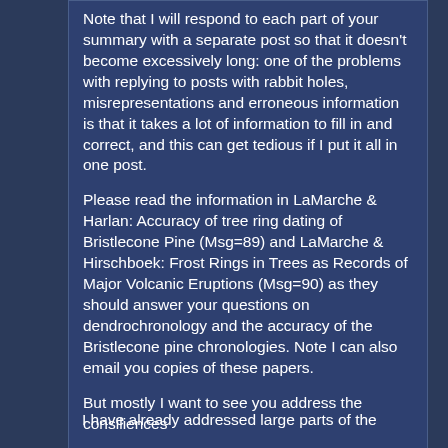Note that I will respond to each part of your summary with a separate post so that it doesn't become excessively long: one of the problems with replying to posts with rabbit holes, misrepresentations and erroneous information is that it takes a lot of information to fill in and correct, and this can get tedious if I put it all in one post.
Please read the information in LaMarche & Harlan: Accuracy of tree ring dating of Bristlecone Pine (Msg=89) and LaMarche & Hirschboek: Frost Rings in Trees as Records of Major Volcanic Eruptions (Msg=90) as they should answer your questions on dendrochronology and the accuracy of the Bristlecone pine chronologies. Note I can also email you copies of these papers.
But mostly I want to see you address the consiliences
I have already addressed large parts of the